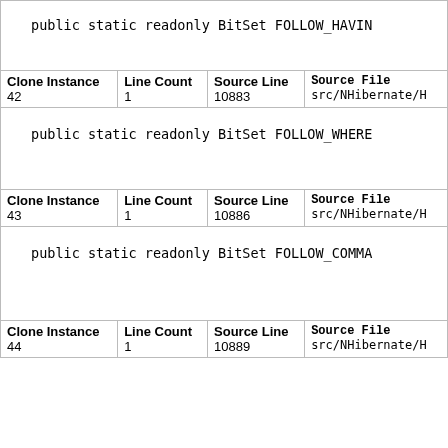public static readonly BitSet FOLLOW_HAVING
| Clone Instance | Line Count | Source Line | Source File |
| --- | --- | --- | --- |
| 42 | 1 | 10883 | src/NHibernate/H |
public static readonly BitSet FOLLOW_WHERE
| Clone Instance | Line Count | Source Line | Source File |
| --- | --- | --- | --- |
| 43 | 1 | 10886 | src/NHibernate/H |
public static readonly BitSet FOLLOW_COMMA
| Clone Instance | Line Count | Source Line | Source File |
| --- | --- | --- | --- |
| 44 | 1 | 10889 | src/NHibernate/H |